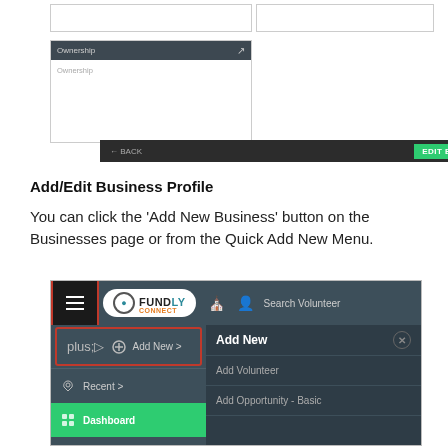[Figure (screenshot): UI screenshot showing Ownership panel with dark header, input boxes, and a bottom bar with BACK and EDIT BUSINESS buttons]
Add/Edit Business Profile
You can click the ‘Add New Business’ button on the Businesses page or from the Quick Add New Menu.
[Figure (screenshot): Fundly Connect application navigation screenshot showing hamburger menu, logo, Add New menu item highlighted with red border, and submenu with Add Volunteer and Add Opportunity - Basic options]